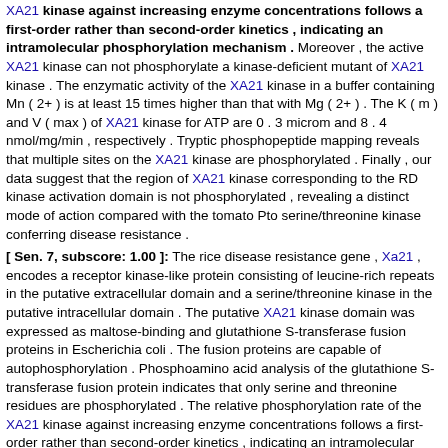XA21 kinase against increasing enzyme concentrations follows a first-order rather than second-order kinetics , indicating an intramolecular phosphorylation mechanism . Moreover , the active XA21 kinase can not phosphorylate a kinase-deficient mutant of XA21 kinase . The enzymatic activity of the XA21 kinase in a buffer containing Mn ( 2+ ) is at least 15 times higher than that with Mg ( 2+ ) . The K ( m ) and V ( max ) of XA21 kinase for ATP are 0 . 3 microm and 8 . 4 nmol/mg/min , respectively . Tryptic phosphopeptide mapping reveals that multiple sites on the XA21 kinase are phosphorylated . Finally , our data suggest that the region of XA21 kinase corresponding to the RD kinase activation domain is not phosphorylated , revealing a distinct mode of action compared with the tomato Pto serine/threonine kinase conferring disease resistance .
[ Sen. 7, subscore: 1.00 ]: The rice disease resistance gene , Xa21 , encodes a receptor kinase-like protein consisting of leucine-rich repeats in the putative extracellular domain and a serine/threonine kinase in the putative intracellular domain . The putative XA21 kinase domain was expressed as maltose-binding and glutathione S-transferase fusion proteins in Escherichia coli . The fusion proteins are capable of autophosphorylation . Phosphoamino acid analysis of the glutathione S-transferase fusion protein indicates that only serine and threonine residues are phosphorylated . The relative phosphorylation rate of the XA21 kinase against increasing enzyme concentrations follows a first-order rather than second-order kinetics , indicating an intramolecular phosphorylation mechanism . Moreover , the active XA21 kinase can not phosphorylate a kinase-deficient mutant of XA21 kinase . The enzymatic activity of the XA21 kinase in a buffer containing Mn ( 2+ ) is at least 15 times higher than that with Mg ( 2+ ) . The K ( m ) and V ( max ) of XA21 kinase for ATP are 0 . 3 microm and 8 . 4 nmol/mg/min , respectively . Tryptic phosphopeptide mapping reveals that multiple sites on the XA21 kinase are phosphorylated . Finally , our data suggest